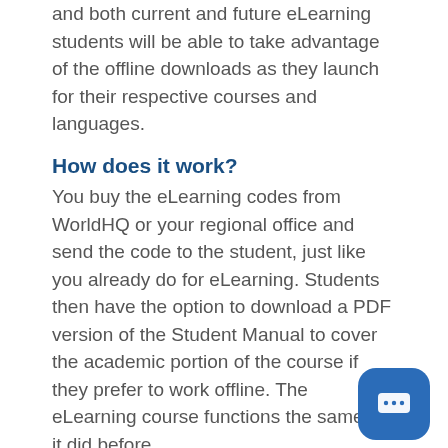and both current and future eLearning students will be able to take advantage of the offline downloads as they launch for their respective courses and languages.
How does it work?
You buy the eLearning codes from WorldHQ or your regional office and send the code to the student, just like you already do for eLearning. Students then have the option to download a PDF version of the Student Manual to cover the academic portion of the course if they prefer to work offline. The eLearning course functions the same as it did before.
How to complete and submit?
The offline and online versions are designed used separately, just like how the physical manuals and eLearning are used separately